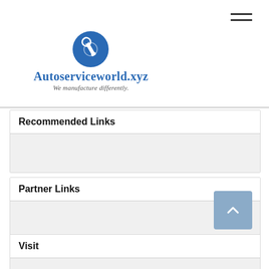[Figure (logo): Autoserviceworld.xyz logo with blue circle and wrench icon, text reads 'Autoserviceworld.xyz' and subtitle 'We manufacture differently.']
Recommended Links
Partner Links
Visit
Public Law